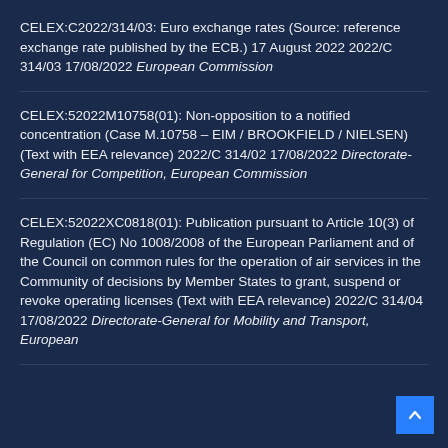CELEX:C2022/314/03: Euro exchange rates (Source: reference exchange rate published by the ECB.) 17 August 2022 2022/C 314/03 17/08/2022 European Commission
CELEX:52022M10758(01): Non-opposition to a notified concentration (Case M.10758 – EIM / BROOKFIELD / NIELSEN) (Text with EEA relevance) 2022/C 314/02 17/08/2022 Directorate-General for Competition, European Commission
CELEX:52022XC0818(01): Publication pursuant to Article 10(3) of Regulation (EC) No 1008/2008 of the European Parliament and of the Council on common rules for the operation of air services in the Community of decisions by Member States to grant, suspend or revoke operating licenses (Text with EEA relevance) 2022/C 314/04 17/08/2022 Directorate-General for Mobility and Transport, European